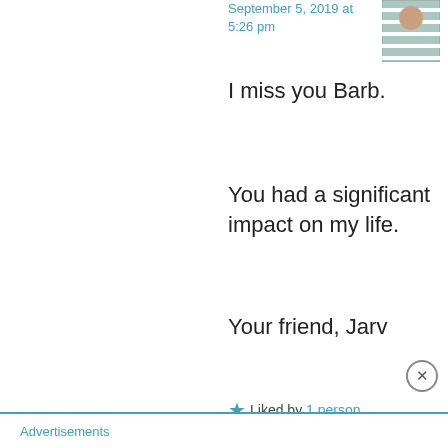September 5, 2019 at 5:26 pm
I miss you Barb.
You had a significant impact on my life.
Your friend, Jarv
★ Liked by 1 person
Privacy & Cookies: This site uses cookies. By continuing to use this website, you agree to their use.
To find out more, including how to control cookies, see here: Cookie Policy
Close and accept
Advertisements